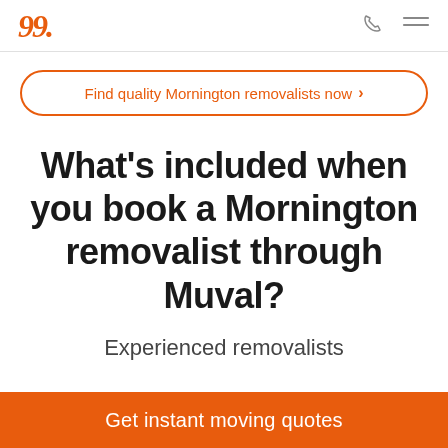Muval logo, phone icon, menu icon
Find quality Mornington removalists now >
What's included when you book a Mornington removalist through Muval?
Experienced removalists
Get instant moving quotes